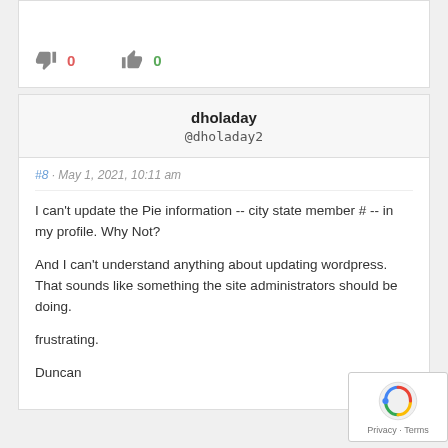[Figure (other): Vote buttons: thumbs down icon with red 0 count, thumbs up icon with green 0 count]
dholaday
@dholaday2
#8 · May 1, 2021, 10:11 am
I can't update the Pie information -- city state member # -- in my profile. Why Not?

And I can't understand anything about updating wordpress. That sounds like something the site administrators should be doing.

frustrating.

Duncan